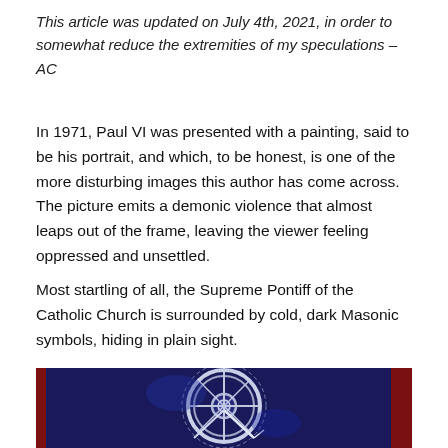This article was updated on July 4th, 2021, in order to somewhat reduce the extremities of my speculations – AC
In 1971, Paul VI was presented with a painting, said to be his portrait, and which, to be honest, is one of the more disturbing images this author has come across. The picture emits a demonic violence that almost leaps out of the frame, leaving the viewer feeling oppressed and unsettled.
Most startling of all, the Supreme Pontiff of the Catholic Church is surrounded by cold, dark Masonic symbols, hiding in plain sight.
[Figure (photo): Detail of a painting showing a dark blue circular mechanical/wheel-like form with Masonic-looking symbols, with red areas visible at the edges. The painting is described as a portrait of Paul VI.]